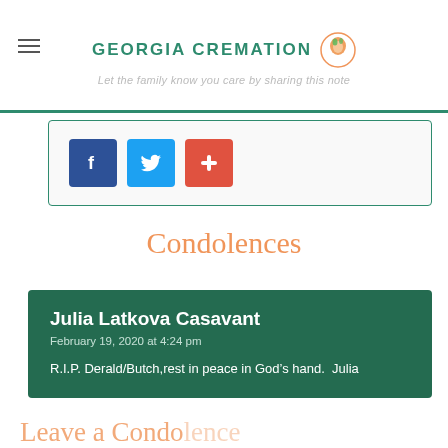GEORGIA CREMATION
Let the family know you care by sharing this note
[Figure (other): Social share buttons: Facebook (blue), Twitter (light blue), and a red plus/more button]
Condolences
Julia Latkova Casavant
February 19, 2020 at 4:24 pm
R.I.P. Derald/Butch,rest in peace in God's hand. Julia
Leave a Condolence